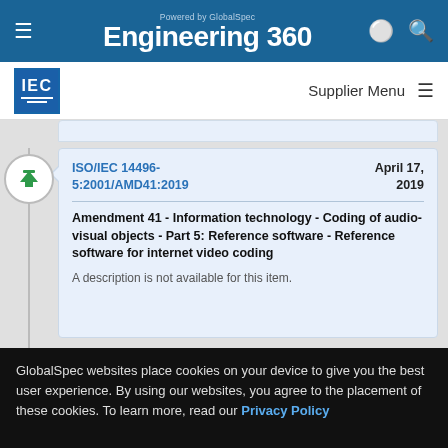Powered by GlobalSpec Engineering 360
[Figure (logo): IEC logo - blue square with IEC text and horizontal lines]
Supplier Menu
ISO/IEC 14496-5:2001/AMD41:2019   April 17, 2019
Amendment 41 - Information technology - Coding of audio-visual objects - Part 5: Reference software - Reference software for internet video coding
A description is not available for this item.
GlobalSpec websites place cookies on your device to give you the best user experience. By using our websites, you agree to the placement of these cookies. To learn more, read our Privacy Policy